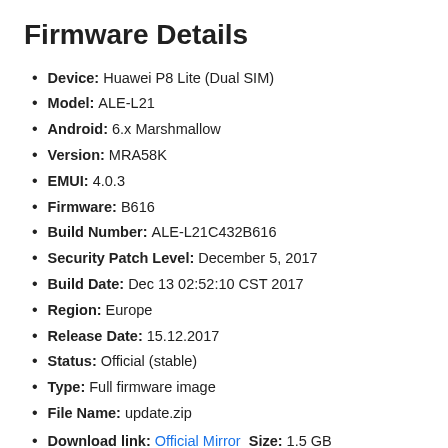Firmware Details
Device: Huawei P8 Lite (Dual SIM)
Model: ALE-L21
Android: 6.x Marshmallow
Version: MRA58K
EMUI: 4.0.3
Firmware: B616
Build Number: ALE-L21C432B616
Security Patch Level: December 5, 2017
Build Date: Dec 13 02:52:10 CST 2017
Region: Europe
Release Date: 15.12.2017
Status: Official (stable)
Type: Full firmware image
File Name: update.zip
Download link: Official Mirror  Size: 1.5 GB